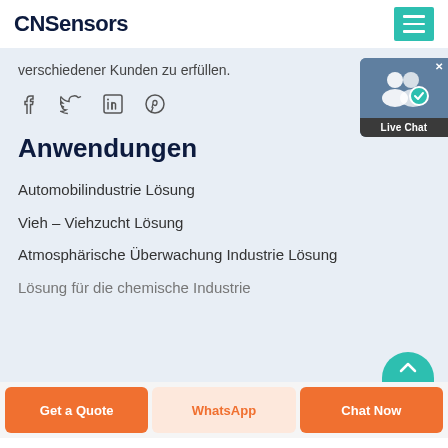CNSensors
verschiedener Kunden zu erfüllen.
[Figure (screenshot): Live Chat widget with two person icons and a checkmark badge, teal/dark background, labeled 'Live Chat']
[Figure (other): Social media icons: Facebook, Twitter, LinkedIn, Pinterest]
Anwendungen
Automobilindustrie Lösung
Vieh – Viehzucht Lösung
Atmosphärische Überwachung Industrie Lösung
Lösung für die chemische Industrie
Get a Quote
WhatsApp
Chat Now